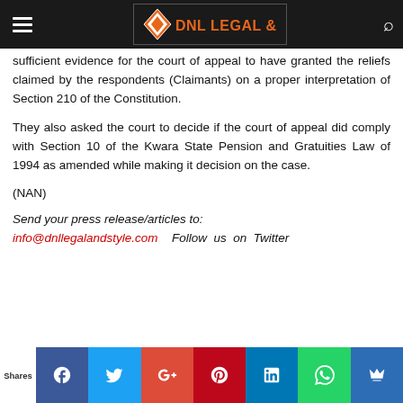DNL LEGAL & STYLE
sufficient evidence for the court of appeal to have granted the reliefs claimed by the respondents (Claimants) on a proper interpretation of Section 210 of the Constitution.
They also asked the court to decide if the court of appeal did comply with Section 10 of the Kwara State Pension and Gratuities Law of 1994 as amended while making it decision on the case.
(NAN)
Send your press release/articles to:
info@dnllegalandstyle.com  Follow us on Twitter
Shares [social share buttons: Facebook, Twitter, Google+, Pinterest, LinkedIn, WhatsApp, Messenger]